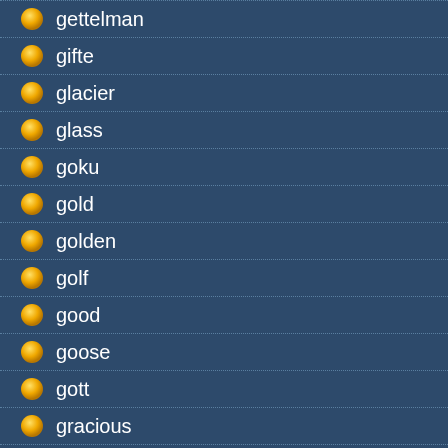gettelman
gifte
glacier
glass
goku
gold
golden
golf
good
goose
gott
gracious
grade
grapette
green